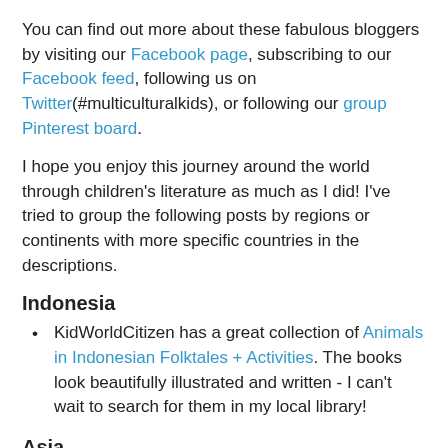You can find out more about these fabulous bloggers by visiting our Facebook page, subscribing to our Facebook feed, following us on Twitter(#multiculturalkids), or following our group Pinterest board.
I hope you enjoy this journey around the world through children's literature as much as I did! I've tried to group the following posts by regions or continents with more specific countries in the descriptions.
Indonesia
KidWorldCitizen has a great collection of Animals in Indonesian Folktales + Activities. The books look beautifully illustrated and written - I can't wait to search for them in my local library!
Asia
Travel to Beijing with these 5 children's books over on In Culture Parent.